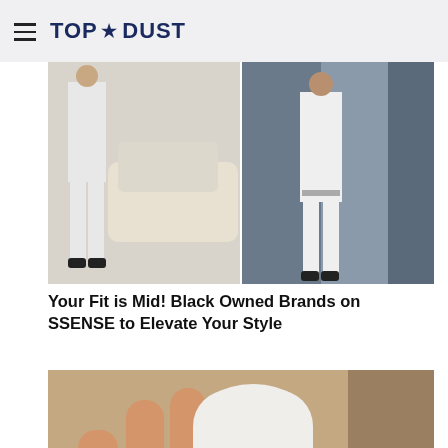TOP★DUST
[Figure (photo): Two men wearing white suits — one standing next to a cream-colored car, another posing in a doorway against a blue-grey background.]
Your Fit is Mid! Black Owned Brands on SSENSE to Elevate Your Style
[Figure (photo): A hand holding a white handheld electronic device with a rounded top and black control buttons/display on the front.]